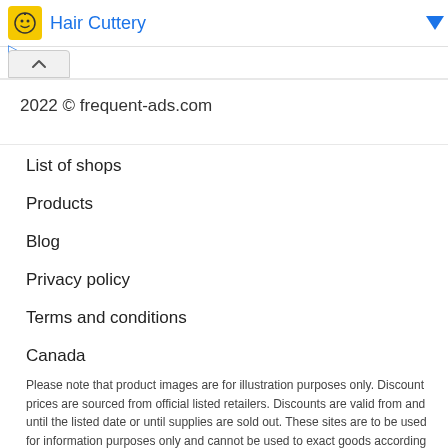[Figure (other): Advertisement banner with Hair Cuttery logo and title in blue, with blue dropdown arrow on right]
2022 © frequent-ads.com
List of shops
Products
Blog
Privacy policy
Terms and conditions
Canada
Please note that product images are for illustration purposes only. Discount prices are sourced from official listed retailers. Discounts are valid from and until the listed date or until supplies are sold out. These sites are to be used for information purposes only and cannot be used to exact goods according to